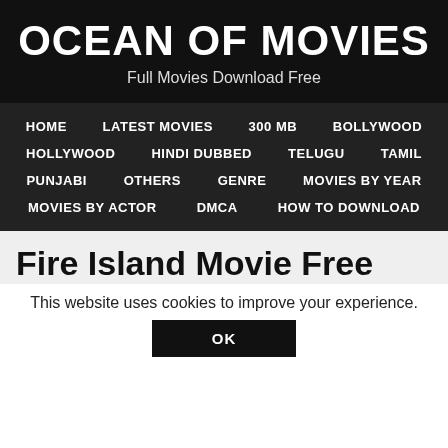OCEAN OF MOVIES
Full Movies Download Free
HOME
LATEST MOVIES
300 MB
BOLLYWOOD
HOLLYWOOD
HINDI DUBBED
TELUGU
TAMIL
PUNJABI
OTHERS
GENRE
MOVIES BY YEAR
MOVIES BY ACTOR
DMCA
HOW TO DOWNLOAD
Fire Island Movie Free
This website uses cookies to improve your experience.
OK